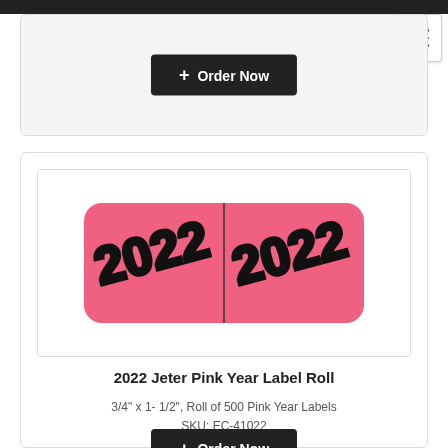[Figure (screenshot): Navigation hamburger menu button in top-right corner]
[Figure (other): Partial product card with Order Now button at top of page]
[Figure (photo): 2022 Jeter Pink Year Label Roll product image showing two pink labels with '2022' in black bubble text on a pink background]
2022 Jeter Pink Year Label Roll
3/4" x 1- 1/2", Roll of 500 Pink Year Labels
SKU: EC-41022
[Figure (other): Partial bottom card with Order Now button]